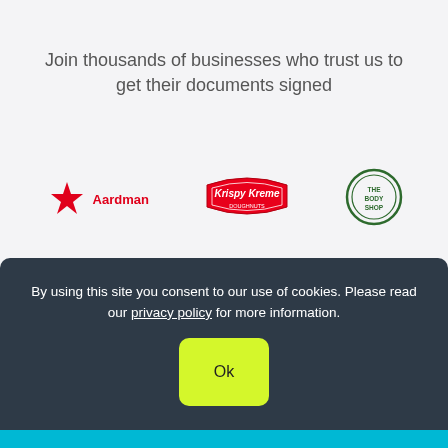Join thousands of businesses who trust us to get their documents signed
[Figure (logo): Aardman logo - red star with Aardman text]
[Figure (logo): Krispy Kreme Doughnuts logo]
[Figure (logo): The Body Shop logo - circular green]
[Figure (logo): The University of Edinburgh logo]
[Figure (logo): Allegiant Finance Services logo]
[Figure (logo): London Philharmonic Orchestra logo]
By using this site you consent to our use of cookies. Please read our privacy policy for more information.
Ok